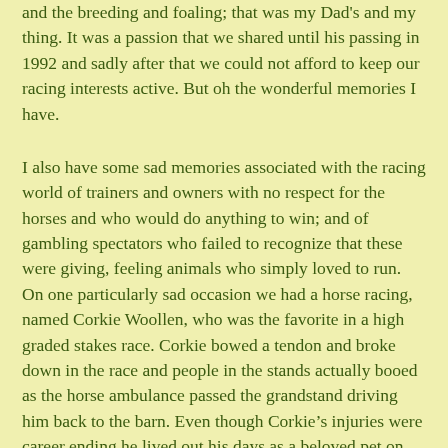and the breeding and foaling; that was my Dad's and my thing. It was a passion that we shared until his passing in 1992 and sadly after that we could not afford to keep our racing interests active. But oh the wonderful memories I have.
I also have some sad memories associated with the racing world of trainers and owners with no respect for the horses and who would do anything to win; and of gambling spectators who failed to recognize that these were giving, feeling animals who simply loved to run. On one particularly sad occasion we had a horse racing, named Corkie Woollen, who was the favorite in a high graded stakes race. Corkie bowed a tendon and broke down in the race and people in the stands actually booed as the horse ambulance passed the grandstand driving him back to the barn. Even though Corkie’s injuries were career ending he lived out his days as a beloved pet on our farm, far from the greedy, uncaring gamblers or ignorant booing spectators.
It also seems that racing over the past decade has changed and not all for the better. Although part of me is still a fan, I am having a hard time remaining loyal because of the epidemic of catastrophic injuries plaguing the sport as well as the cruel injustices paid to